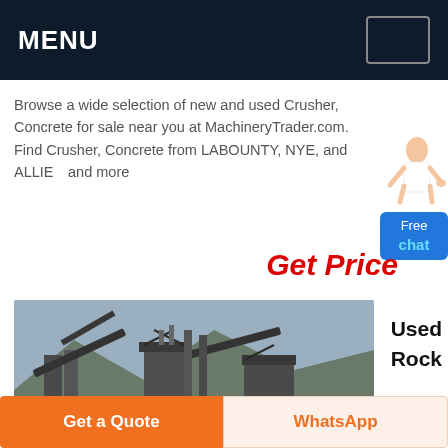MENU
Browse a wide selection of new and used Crusher, Concrete for sale near you at MachineryTrader.com. Find Crusher, Concrete from LABOUNTY, NYE, and ALLIED and more
Get Price
[Figure (photo): Industrial rock crusher / mining facility with conveyor belts and mountains in background]
Used Rock
Get a Quote
WhatsApp